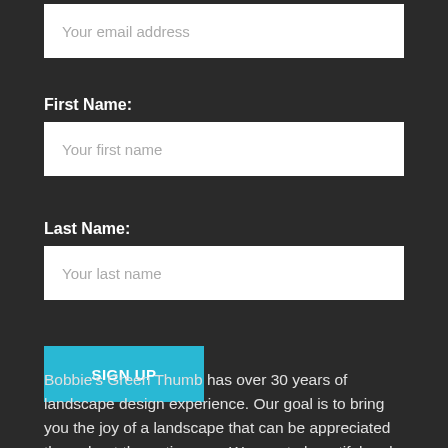Your email address
First Name:
Your first name
Last Name:
Your last name
SIGN UP
Bobbie's Green Thumb has over 30 years of landscape design experience. Our goal is to bring you the joy of a landscape that can be appreciated throughout the entire year. We create beautiful and sustainable designs that fit your lifestyle and enhance your home in every season.